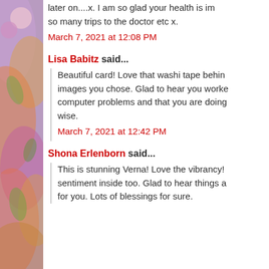later on....x. I am so glad your health is im... so many trips to the doctor etc x.
March 7, 2021 at 12:08 PM
Lisa Babitz said...
Beautiful card! Love that washi tape behin... images you chose. Glad to hear you worke... computer problems and that you are doing... wise.
March 7, 2021 at 12:42 PM
Shona Erlenborn said...
This is stunning Verna! Love the vibrancy!... sentiment inside too. Glad to hear things a... for you. Lots of blessings for sure.